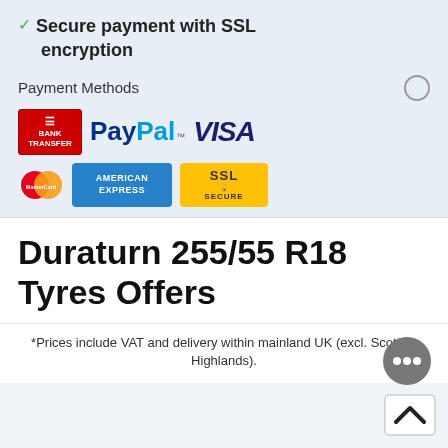✓ Secure payment with SSL encryption
Payment Methods
[Figure (logo): Payment method logos: Bank Transfer, PayPal, VISA, MasterCard, American Express, SSL Secure]
Duraturn 255/55 R18 Tyres Offers
*Prices include VAT and delivery within mainland UK (excl. Scottish Highlands).
[Figure (illustration): Chat bubble icon with three dots]
[Figure (illustration): Scroll to top button with chevron up arrow]